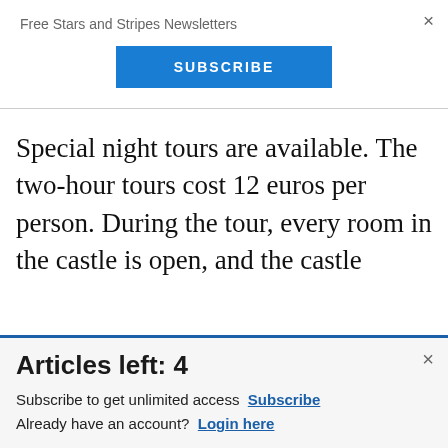Free Stars and Stripes Newsletters
SUBSCRIBE
Special night tours are available. The two-hour tours cost 12 euros per person. During the tour, every room in the castle is open, and the castle
[Figure (illustration): Commissary Click2Go advertisement banner with green circular logo and commissary badge on blue background. Text includes 'order groceries' and partial text at bottom.]
Articles left: 4
Subscribe to get unlimited access Subscribe Already have an account? Login here